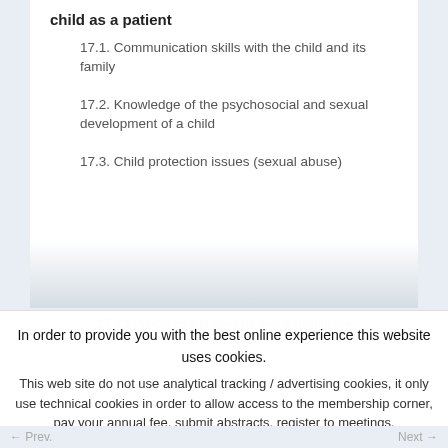child as a patient
17.1. Communication skills with the child and its family
17.2. Knowledge of the psychosocial and sexual development of a child
17.3. Child protection issues (sexual abuse)
17.3.1.Principles and rules for declaration to the
17.4. Guide- line and anticipation for the transition to
In order to provide you with the best online experience this website uses cookies.
This web site do not use analytical tracking / advertising cookies, it only use technical cookies in order to allow access to the membership corner, pay your annual fee, submit abstracts, register to meetings.
Learn more
I agree